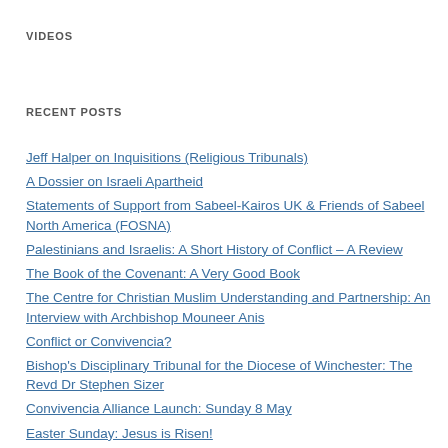VIDEOS
RECENT POSTS
Jeff Halper on Inquisitions (Religious Tribunals)
A Dossier on Israeli Apartheid
Statements of Support from Sabeel-Kairos UK & Friends of Sabeel North America (FOSNA)
Palestinians and Israelis: A Short History of Conflict – A Review
The Book of the Covenant: A Very Good Book
The Centre for Christian Muslim Understanding and Partnership: An Interview with Archbishop Mouneer Anis
Conflict or Convivencia?
Bishop's Disciplinary Tribunal for the Diocese of Winchester: The Revd Dr Stephen Sizer
Convivencia Alliance Launch: Sunday 8 May
Easter Sunday: Jesus is Risen!